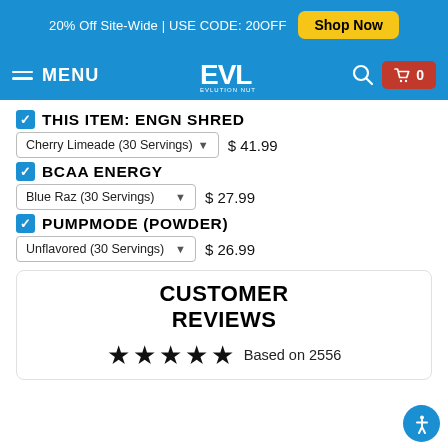20% Off Site-Wide | USE CODE: 20OFF   Shop Now
MENU  EVL  0
THIS ITEM: ENGN SHRED  Cherry Limeade (30 Servings)  $41.99
BCAA ENERGY  Blue Raz (30 Servings)  $27.99
PUMPMODE (POWDER)  Unflavored (30 Servings)  $26.99
CUSTOMER REVIEWS
Based on 2556